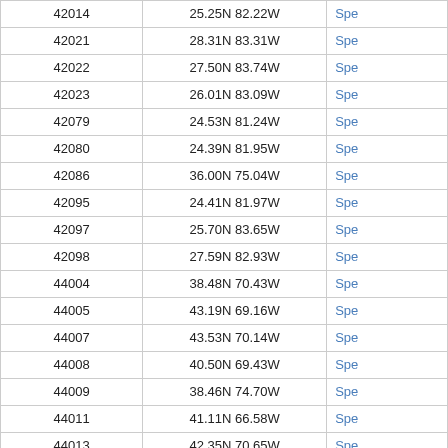| 42014 | 25.25N 82.22W | Spe |
| 42021 | 28.31N 83.31W | Spe |
| 42022 | 27.50N 83.74W | Spe |
| 42023 | 26.01N 83.09W | Spe |
| 42079 | 24.53N 81.24W | Spe |
| 42080 | 24.39N 81.95W | Spe |
| 42086 | 36.00N 75.04W | Spe |
| 42095 | 24.41N 81.97W | Spe |
| 42097 | 25.70N 83.65W | Spe |
| 42098 | 27.59N 82.93W | Spe |
| 44004 | 38.48N 70.43W | Spe |
| 44005 | 43.19N 69.16W | Spe |
| 44007 | 43.53N 70.14W | Spe |
| 44008 | 40.50N 69.43W | Spe |
| 44009 | 38.46N 74.70W | Spe |
| 44011 | 41.11N 66.58W | Spe |
| 44013 | 42.35N 70.65W | Spe |
| 44014 | 36.61N 74.84W | Spe |
| 44017 | 40.70N 72.10W | Spe |
| 44018 | 41.26N 69.29W | Spe |
| 44020 | 41.44N 70.19W | Spe |
| 44024 | 42.31N 65.93W | Spe |
| 44025 | 40.25N 73.17W | Spe |
| 44027 | 44.27N 67.31W | Spe |
| 44029 | 42.52N 70.57W | Spe |